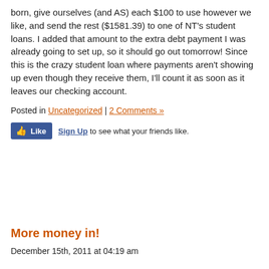born, give ourselves (and AS) each $100 to use however we like, and send the rest ($1581.39) to one of NT's student loans. I added that amount to the extra debt payment I was already going to set up, so it should go out tomorrow! Since this is the crazy student loan where payments aren't showing up even though they receive them, I'll count it as soon as it leaves our checking account.
Posted in Uncategorized | 2 Comments »
[Figure (other): Facebook Like widget with thumbs-up icon and 'Sign Up to see what your friends like.' text]
More money in!
December 15th, 2011 at 04:19 am